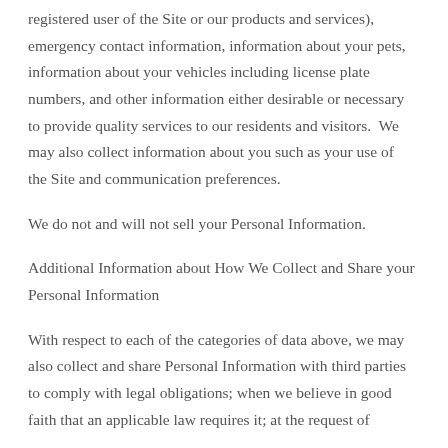registered user of the Site or our products and services), emergency contact information, information about your pets, information about your vehicles including license plate numbers, and other information either desirable or necessary to provide quality services to our residents and visitors.  We may also collect information about you such as your use of the Site and communication preferences.
We do not and will not sell your Personal Information.
Additional Information about How We Collect and Share your Personal Information
With respect to each of the categories of data above, we may also collect and share Personal Information with third parties to comply with legal obligations; when we believe in good faith that an applicable law requires it; at the request of